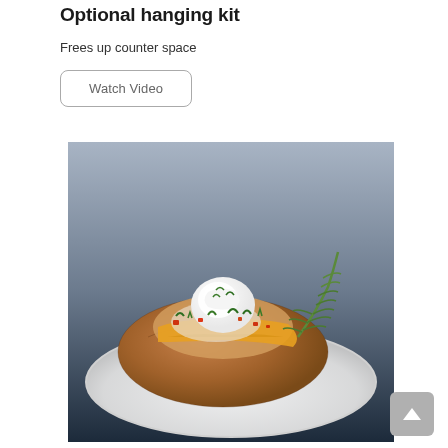Optional hanging kit
Frees up counter space
Watch Video
[Figure (photo): A loaded baked potato topped with sour cream, melted cheese, diced red peppers, and fresh herbs on a white plate, with sprigs of rosemary, on a dark blue-gray background.]